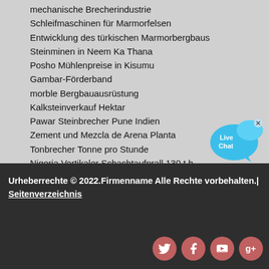mechanische Brecherindustrie
Schleifmaschinen für Marmorfelsen
Entwicklung des türkischen Marmorbergbaus
Steinminen in Neem Ka Thana
Posho Mühlenpreise in Kisumu
Gambar-Förderband
morble Bergbauausrüstung
Kalksteinverkauf Hektar
Pawar Steinbrecher Pune Indien
Zement und Mezcla de Arena Planta
Tonbrecher Tonne pro Stunde
Nigeria Vertikaler Schachtaufprall 130 t h
Igoldabbau in Kamerun
Walzenbrecher Kies
[Figure (illustration): Live Chat speech bubble icon in cyan/blue color with 'Live Chat' text and a close (x) button]
Urheberrechte © 2022.Firmenname Alle Rechte vorbehalten.| Seitenverzeichnis
[Figure (illustration): Social media icons row: Twitter, Facebook, YouTube, Google+ in pink/rose colored circles]